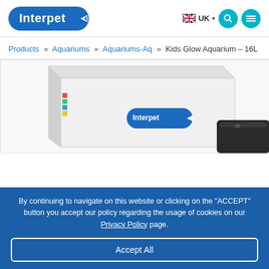Interpet | UK
Products » Aquariums » Aquariums-Aq » Kids Glow Aquarium – 16L
[Figure (photo): Product photo showing a white box packaging with the Interpet logo label and a black aquarium lid/unit partially visible, on a white background.]
By continuing to navigate on this website or clicking on the "ACCEPT" button you accept our policy regarding the usage of cookies on our Privacy Policy page.
Accept All